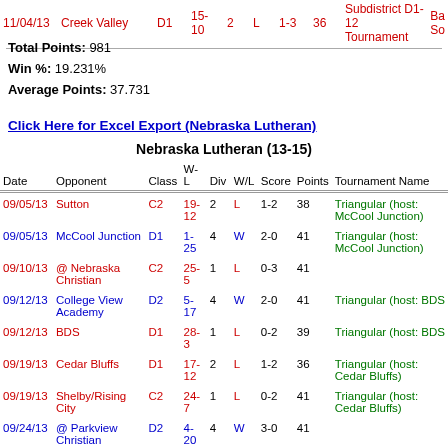| Date | Opponent | Class | W-L | Div | W/L | Score | Points | Tournament Name |
| --- | --- | --- | --- | --- | --- | --- | --- | --- |
| 11/04/13 | Creek Valley | D1 | 15-10 | 2 | L | 1-3 | 36 | Subdistrict D1-12 Tournament |
Total Points: 981
Win %: 19.231%
Average Points: 37.731
Click Here for Excel Export (Nebraska Lutheran)
Nebraska Lutheran (13-15)
| Date | Opponent | Class | W-L | Div | W/L | Score | Points | Tournament Name |
| --- | --- | --- | --- | --- | --- | --- | --- | --- |
| 09/05/13 | Sutton | C2 | 19-12 | 2 | L | 1-2 | 38 | Triangular (host: McCool Junction) |
| 09/05/13 | McCool Junction | D1 | 1-25 | 4 | W | 2-0 | 41 | Triangular (host: McCool Junction) |
| 09/10/13 | @ Nebraska Christian | C2 | 25-5 | 1 | L | 0-3 | 41 |  |
| 09/12/13 | College View Academy | D2 | 5-17 | 4 | W | 2-0 | 41 | Triangular (host: BDS |
| 09/12/13 | BDS | D1 | 28-3 | 1 | L | 0-2 | 39 | Triangular (host: BDS |
| 09/19/13 | Cedar Bluffs | D1 | 17-12 | 2 | L | 1-2 | 36 | Triangular (host: Cedar Bluffs) |
| 09/19/13 | Shelby/Rising City | C2 | 24-7 | 1 | L | 0-2 | 41 | Triangular (host: Cedar Bluffs) |
| 09/24/13 | @ Parkview Christian | D2 | 4-20 | 4 | W | 3-0 | 41 |  |